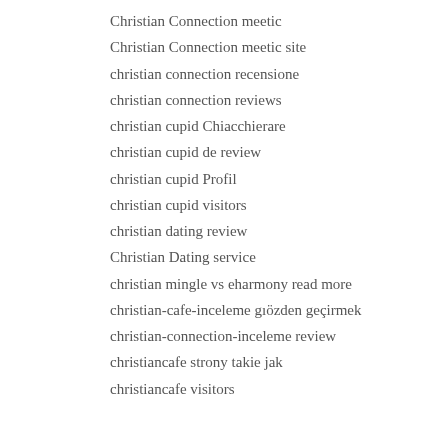Christian Connection meetic
Christian Connection meetic site
christian connection recensione
christian connection reviews
christian cupid Chiacchierare
christian cupid de review
christian cupid Profil
christian cupid visitors
christian dating review
Christian Dating service
christian mingle vs eharmony read more
christian-cafe-inceleme gözden geçirmek
christian-connection-inceleme review
christiancafe strony takie jak
christiancafe visitors